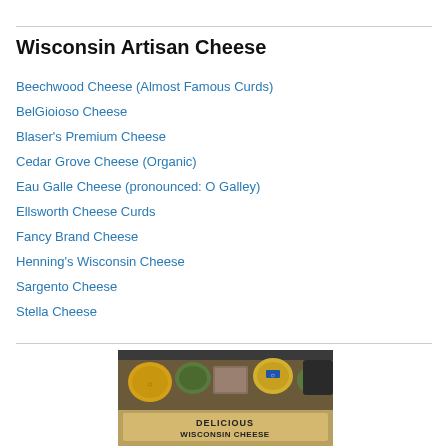Wisconsin Artisan Cheese
Beechwood Cheese (Almost Famous Curds)
BelGioioso Cheese
Blaser's Premium Cheese
Cedar Grove Cheese (Organic)
Eau Galle Cheese (pronounced: O Galley)
Ellsworth Cheese Curds
Fancy Brand Cheese
Henning's Wisconsin Cheese
Sargento Cheese
Stella Cheese
[Figure (photo): A display shelf of various Wisconsin cheese wheels and blocks with a sign reading 'DELICIOUS WISCONSIN CHEESE']